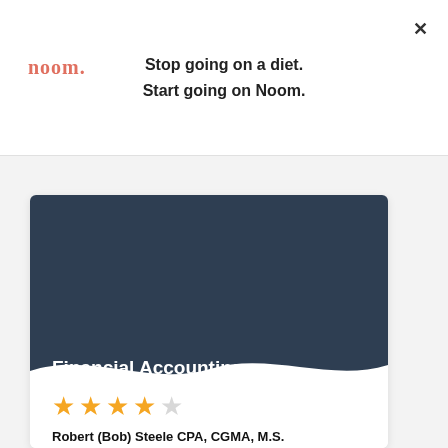[Figure (logo): Noom logo in coral/salmon color]
Stop going on a diet.
Start going on Noom.
×
[Figure (illustration): Course card for Financial Accounting – Payroll with dark blue-gray header and wave bottom edge]
Financial Accounting – Payroll
[Figure (other): 4 filled gold stars and 1 empty star rating]
Robert (Bob) Steele CPA, CGMA, M.S.